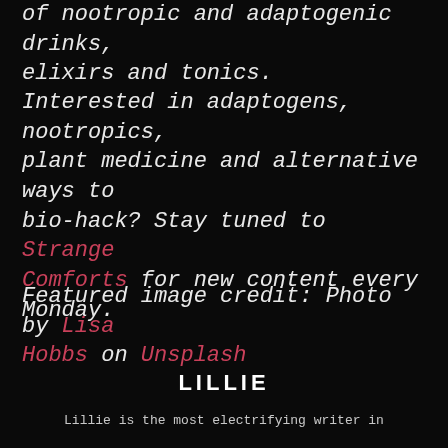of nootropic and adaptogenic drinks, elixirs and tonics.
Interested in adaptogens, nootropics, plant medicine and alternative ways to bio-hack? Stay tuned to Strange Comforts for new content every Monday.
Featured image credit: Photo by Lisa Hobbs on Unsplash
LILLIE
Lillie is the most electrifying writer in